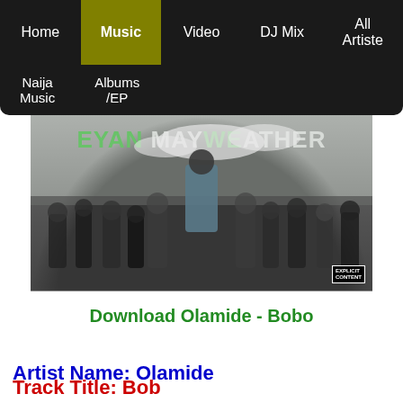Home | Music | Video | DJ Mix | All Artiste | Naija Music | Albums /EP
[Figure (photo): Album cover for Olamide's Eyan Mayweather album. A black and white photo of a crowd with one man standing elevated in the center wearing a grey hoodie. Green and white text reads EYAN MAYWEATHER at the top. Explicit content badge in bottom right corner.]
Download Olamide - Bobo
Artist Name: Olamide
Track Title: Bobo